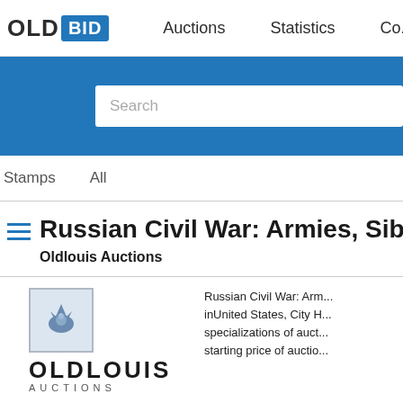OLD BID   Auctions   Statistics   Co...
[Figure (screenshot): Blue search bar with white search input box containing placeholder text 'Search']
Stamps   All
Russian Civil War: Armies, Sibe...
Oldlouis Auctions
[Figure (logo): Oldlouis Auctions logo with phoenix stamp icon and OLDLOUIS AUCTIONS text]
Russian Civil War: Arm... inUnited States, City H... specializations of auct... starting price of auctio...